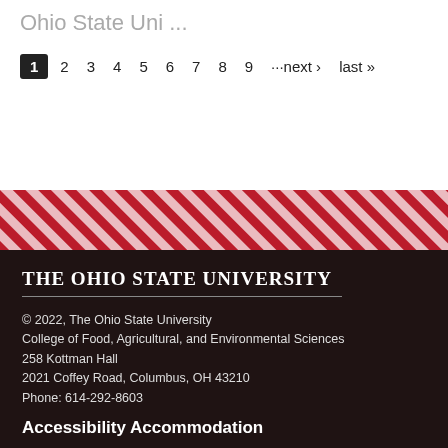Ohio State Uni ...
1 2 3 4 5 6 7 8 9 ···next › last »
[Figure (other): Diagonal red and white stripe decorative band]
The Ohio State University
© 2022, The Ohio State University
College of Food, Agricultural, and Environmental Sciences
258 Kottman Hall
2021 Coffey Road, Columbus, OH 43210
Phone: 614-292-8603
Accessibility Accommodation